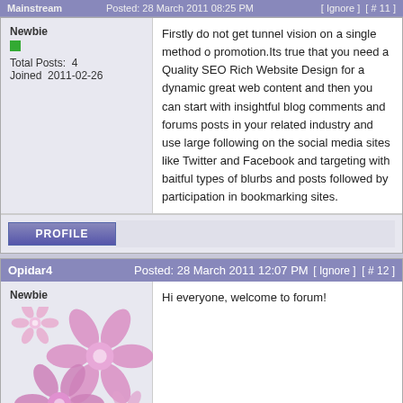Posted: 28 March 2011 [Ignore] [# 11]
Newbie
Total Posts: 4
Joined 2011-02-26
Firstly do not get tunnel vision on a single method of promotion.Its true that you need a Quality SEO Rich Website Design for a dynamic great web content and then you can start with insightful blog comments and forums posts in your related industry and use large following on the social media sites like Twitter and Facebook and targeting with baitful types of blurbs and posts followed by participation in bookmarking sites.
PROFILE
Opidar4
Posted: 28 March 2011 12:07 PM
[Ignore] [# 12]
Newbie
Total Posts: 1
Joined 2011-03-26
Hi everyone, welcome to forum!
PROFILE